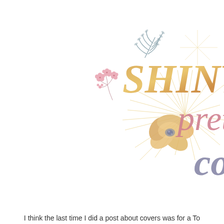[Figure (illustration): Decorative illustration with calligraphy text reading 'SHINY, pret... co...' in gold and pink/purple brush lettering, with a starburst/sunburst design in gold, a large watercolor peach/golden flower in the center, small pink cherry blossom cluster on the left, and a blue-gray botanical leaf sprig at the top.]
I think the last time I did a post about covers was for a To